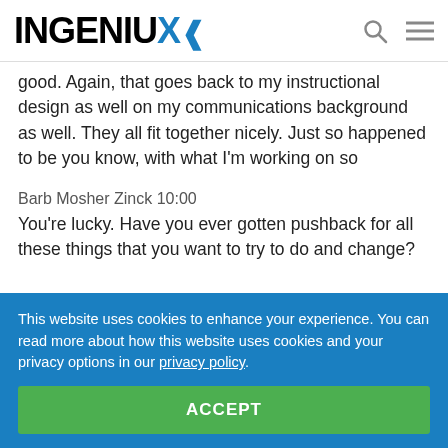INGENIUX
good. Again, that goes back to my instructional design as well on my communications background as well. They all fit together nicely. Just so happened to be you know, with what I'm working on so
Barb Mosher Zinck 10:00
You're lucky. Have you ever gotten pushback for all these things that you want to try to do and change?
This website uses cookies to enhance your experience. You can read more about how this website uses cookies and your privacy options in our privacy policy.
ACCEPT